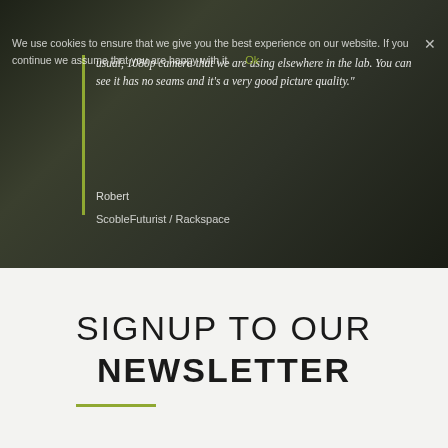[Figure (photo): Dark background photo of a person writing on a whiteboard in a classroom/meeting setting, with a semi-transparent cookie consent overlay and testimonial text overlaid on top.]
We use cookies to ensure that we give you the best experience on our website. If you continue we assume that you are happy with it.
Ok
usual, 1080p camera that we are using elsewhere in the lab. You can see it has no seams and it's a very good picture quality."
Robert
ScobleFuturist / Rackspace
SIGNUP TO OUR NEWSLETTER